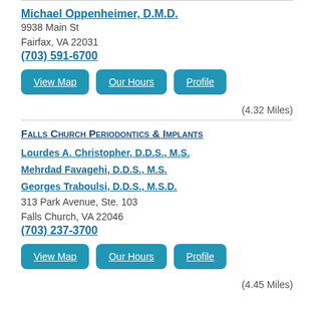Michael Oppenheimer, D.M.D.
9938 Main St
Fairfax, VA 22031
(703) 591-6700
View Map
Our Hours
Profile
(4.32 Miles)
Falls Church Periodontics & Implants
Lourdes A. Christopher, D.D.S., M.S.
Mehrdad Favagehi, D.D.S., M.S.
Georges Traboulsi, D.D.S., M.S.D.
313 Park Avenue, Ste. 103
Falls Church, VA 22046
(703) 237-3700
View Map
Our Hours
Profile
(4.45 Miles)